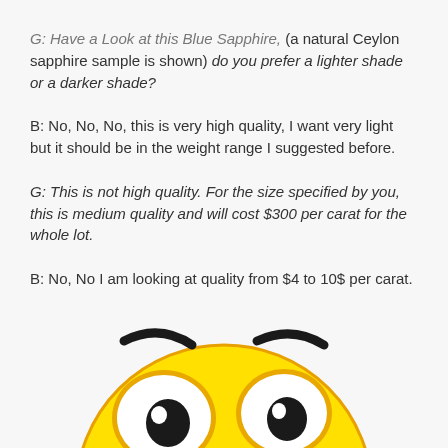G: Have a Look at this Blue Sapphire, (a natural Ceylon sapphire sample is shown) do you prefer a lighter shade or a darker shade?
B: No, No, No, this is very high quality, I want very light but it should be in the weight range I suggested before.
G: This is not high quality. For the size specified by you, this is medium quality and will cost $300 per carat for the whole lot.
B: No, No I am looking at quality from $4 to 10$ per carat.
[Figure (illustration): A cartoon emoji face with a yellow round head, large googly eyes with white sclera and black pupils, arched angry/skeptical eyebrows, partially cropped at the bottom of the page.]